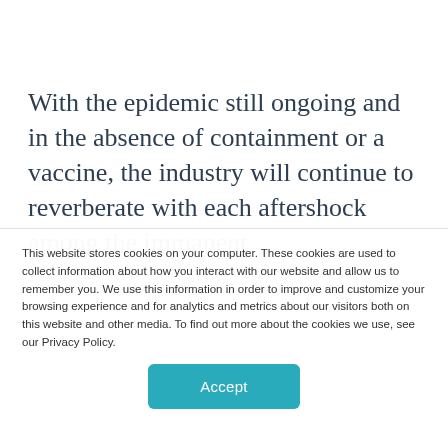With the epidemic still ongoing and in the absence of containment or a vaccine, the industry will continue to reverberate with each aftershock among the immanent
This website stores cookies on your computer. These cookies are used to collect information about how you interact with our website and allow us to remember you. We use this information in order to improve and customize your browsing experience and for analytics and metrics about our visitors both on this website and other media. To find out more about the cookies we use, see our Privacy Policy.
Accept